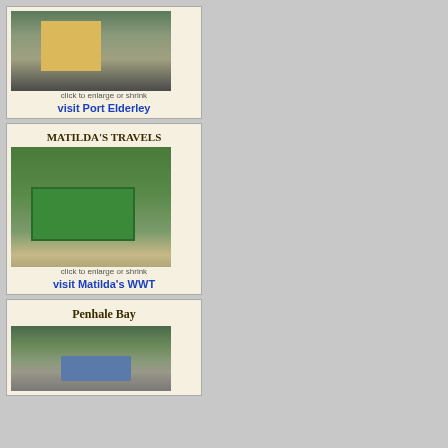[Figure (photo): Model railway layout photo - Port Elderley, overhead view of freight cars]
click to enlarge or shrink
visit Port Elderley
MATILDA'S TRAVELS
[Figure (photo): Model railway layout photo - green freight car on track with scenery]
click to enlarge or shrink
visit Matilda's WWT
Penhale Bay
[Figure (photo): Model railway layout photo - Penhale Bay with train in scenic landscape]
Blanman27
163
Bob K
775
Bobby098
305